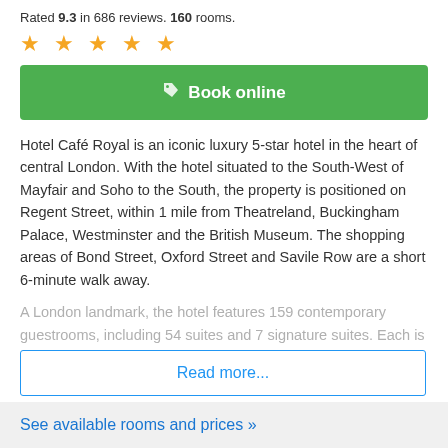Rated 9.3 in 686 reviews. 160 rooms.
[Figure (other): Five gold star rating icons]
[Figure (other): Green Book online button with tag icon]
Hotel Café Royal is an iconic luxury 5-star hotel in the heart of central London. With the hotel situated to the South-West of Mayfair and Soho to the South, the property is positioned on Regent Street, within 1 mile from Theatreland, Buckingham Palace, Westminster and the British Museum. The shopping areas of Bond Street, Oxford Street and Savile Row are a short 6-minute walk away.
A London landmark, the hotel features 159 contemporary guestrooms, including 54 suites and 7 signature suites. Each is
Read more...
See available rooms and prices »